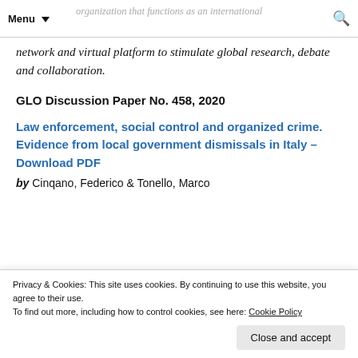Menu ▼  [search icon]
independent, non-partisan and non-governmental organization that functions as an international network and virtual platform to stimulate global research, debate and collaboration.
GLO Discussion Paper No. 458, 2020
Law enforcement, social control and organized crime. Evidence from local government dismissals in Italy – Download PDF
by Cinqano, Federico & Tonello, Marco
Privacy & Cookies: This site uses cookies. By continuing to use this website, you agree to their use.
To find out more, including how to control cookies, see here: Cookie Policy
Close and accept